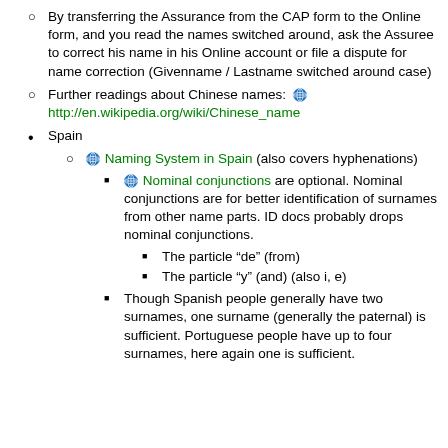By transferring the Assurance from the CAP form to the Online form, and you read the names switched around, ask the Assuree to correct his name in his Online account or file a dispute for name correction (Givenname / Lastname switched around case)
Further readings about Chinese names: http://en.wikipedia.org/wiki/Chinese_name
Spain
Naming System in Spain (also covers hyphenations)
Nominal conjunctions are optional. Nominal conjunctions are for better identification of surnames from other name parts. ID docs probably drops nominal conjunctions.
The particle “de” (from)
The particle “y” (and) (also i, e)
Though Spanish people generally have two surnames, one surname (generally the paternal) is sufficient. Portuguese people have up to four surnames, here again one is sufficient.